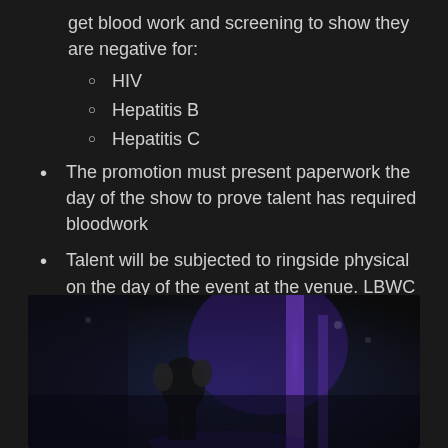get blood work and screening to show they are negative for:
HIV
Hepatitis B
Hepatitis C
The promotion must present paperwork the day of the show to prove talent has required bloodwork
Talent will be subjected to ringside physical on the day of the event at the venue. LBWC will provide an official at each show, in addition to an EMT
[Figure (photo): Dark arena/boxing venue photo showing a boxer or wrestler in the ring, with purple lighting visible in the background]